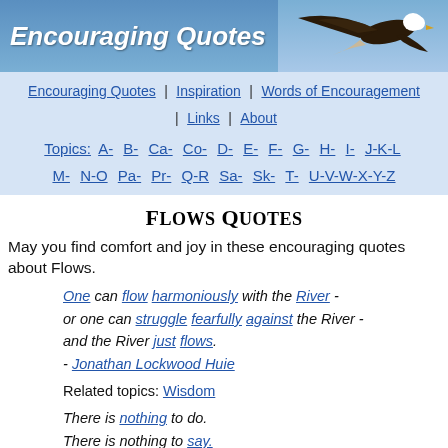Encouraging Quotes
Encouraging Quotes | Inspiration | Words of Encouragement | Links | About
Topics: A- B- Ca- Co- D- E- F- G- H- I- J-K-L M- N-O Pa- Pr- Q-R Sa- Sk- T- U-V-W-X-Y-Z
Flows Quotes
May you find comfort and joy in these encouraging quotes about Flows.
One can flow harmoniously with the River - or one can struggle fearfully against the River - and the River just flows. - Jonathan Lockwood Huie
Related topics: Wisdom
There is nothing to do. There is nothing to say.